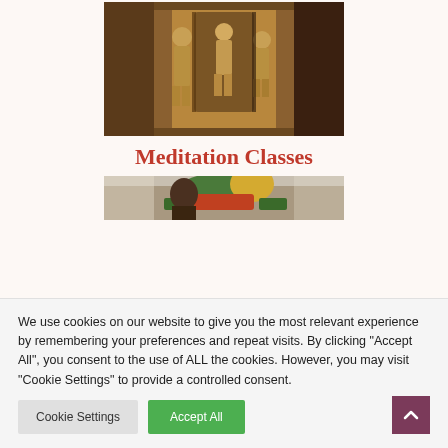[Figure (photo): Ancient temple stone carvings showing figures/statues in relief, warm golden-brown tones]
Meditation Classes
[Figure (photo): Colorful decorative temple ornament or dragon sculpture, partially visible at bottom]
We use cookies on our website to give you the most relevant experience by remembering your preferences and repeat visits. By clicking “Accept All”, you consent to the use of ALL the cookies. However, you may visit “Cookie Settings” to provide a controlled consent.